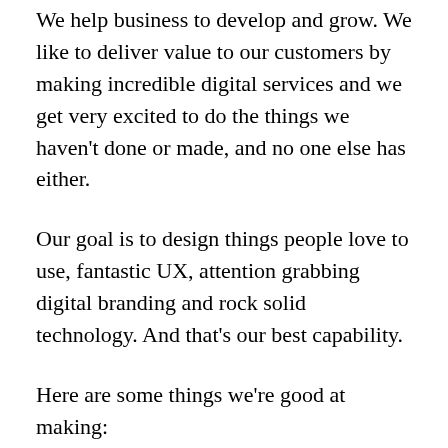We help business to develop and grow. We like to deliver value to our customers by making incredible digital services and we get very excited to do the things we haven't done or made, and no one else has either.
Our goal is to design things people love to use, fantastic UX, attention grabbing digital branding and rock solid technology. And that's our best capability.
Here are some things we're good at making: